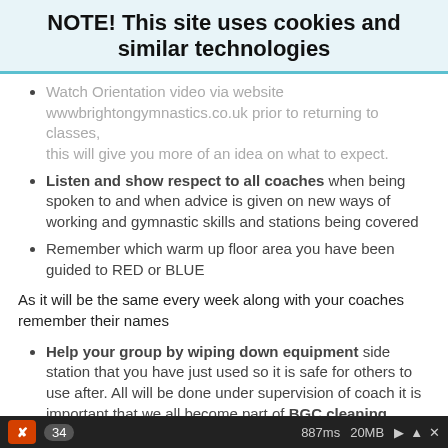NOTE! This site uses cookies and similar technologies
Watch Orientation video via website wwwbrightongymnastics.co.uk prior to returning to classes, this will give you more of an idea on what to expect.
Listen and show respect to all coaches when being spoken to and when advice is given on new ways of working and gymnastic skills and stations being covered
Remember which warm up floor area you have been guided to RED or BLUE
As it will be the same every week along with your coaches remember their names
Help your group by wiping down equipment side station that you have just used so it is safe for others to use after. All will be done under supervision of coach it is important that we all become part of BGC cleaning dream team!
Not too leave the premises unaccompanied (by an adult), if under 16 years of age, without prior written agreement
If you are feeling unwell in any way you should inform the coach immediately temperature will be redone and
34   887ms  20MB